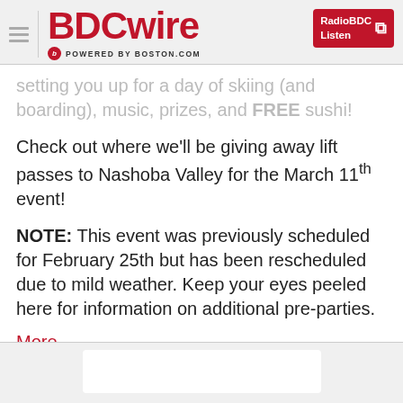BDCwire — POWERED BY BOSTON.COM — RadioBDC Listen
setting you up for a day of skiing (and boarding), music, prizes, and FREE sushi!
Check out where we'll be giving away lift passes to Nashoba Valley for the March 11th event!
NOTE: This event was previously scheduled for February 25th but has been rescheduled due to mild weather. Keep your eyes peeled here for information on additional pre-parties.
More ...